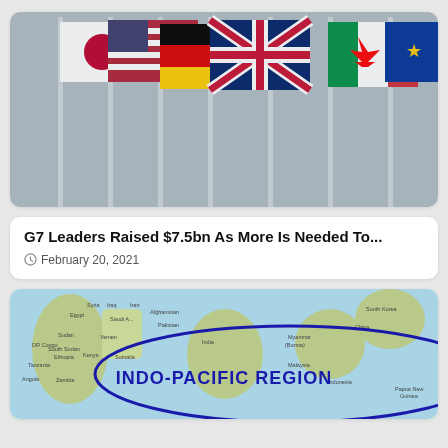[Figure (photo): G7 national flags flying on poles against a light blue-grey sky background. Flags include Japan, USA, Germany, UK, Canada and others, all waving in the wind.]
G7 Leaders Raised $7.5bn As More Is Needed To...
February 20, 2021
[Figure (map): A world map showing the Indo-Pacific region, with a dark blue elliptical circle drawn around it. The text 'INDO-PACIFIC REGION' is displayed in bold dark blue capital letters across the ocean area. The map shows countries including Egypt, Sudan, Ethiopia, India, Myanmar, China, South Korea, Indonesia, and others.]